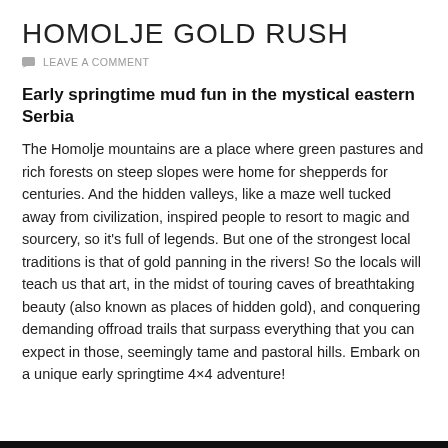HOMOLJE GOLD RUSH
LEAVE A COMMENT
Early springtime mud fun in the mystical eastern Serbia
The Homolje mountains are a place where green pastures and rich forests on steep slopes were home for shepperds for centuries. And the hidden valleys, like a maze well tucked away from civilization, inspired people to resort to magic and sourcery, so it’s full of legends. But one of the strongest local traditions is that of gold panning in the rivers! So the locals will teach us that art, in the midst of touring caves of breathtaking beauty (also known as places of hidden gold), and conquering demanding offroad trails that surpass everything that you can expect in those, seemingly tame and pastoral hills. Embark on a unique early springtime 4×4 adventure!